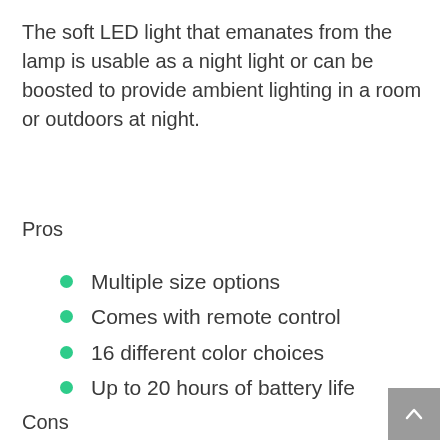The soft LED light that emanates from the lamp is usable as a night light or can be boosted to provide ambient lighting in a room or outdoors at night.
Pros
Multiple size options
Comes with remote control
16 different color choices
Up to 20 hours of battery life
Cons